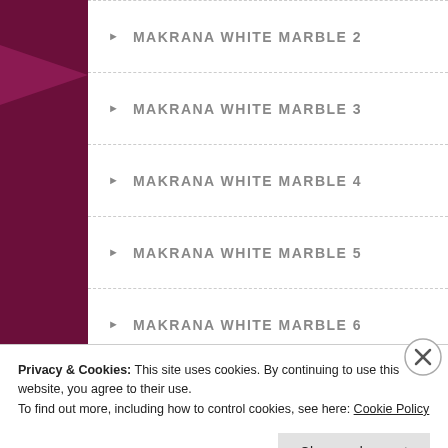MAKRANA WHITE MARBLE 2
MAKRANA WHITE MARBLE 3
MAKRANA WHITE MARBLE 4
MAKRANA WHITE MARBLE 5
MAKRANA WHITE MARBLE 6
MAKRANA WHITE MARBLE 7
MAKRANA WHITE MARBLE 8
MAKRANA WHITE MARBLE1
MAKRANA WHITE MARBLE2
MAKRANA WHITE MARBLE3
Privacy & Cookies: This site uses cookies. By continuing to use this website, you agree to their use.
To find out more, including how to control cookies, see here: Cookie Policy
Close and accept